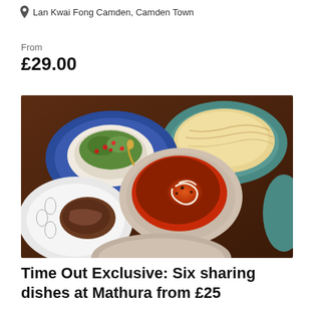Lan Kwai Fong Camden, Camden Town
From
£29.00
[Figure (photo): A spread of Indian dishes on a dark wooden table, including a salad in a decorative blue and white bowl, naan bread on a teal plate, a curry in a silver bowl, and a meat dish on a white patterned plate.]
Time Out Exclusive: Six sharing dishes at Mathura from £25